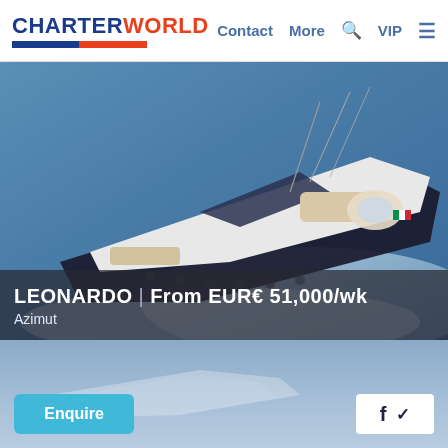CHARTERWORLD | Contact | More | VIP
[Figure (photo): Aerial view of a large white luxury motor yacht (Azimut) underway at speed on blue sea, photographed from above and slightly astern, showing the deck layout with seating areas and Italian flag visible at the stern.]
LEONARDO | From EUR€ 51,000/wk
Azimut
[Figure (photo): Partially visible second yacht photo in the lower blue section of the page.]
Enquire
f  ✓